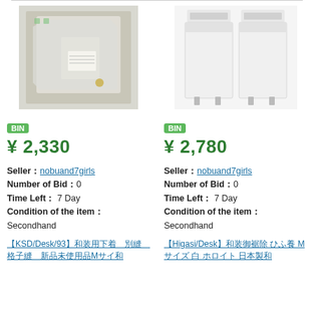[Figure (photo): Product photo: item in plastic bag/packaging, appears to be fabric or clothing in a clear bag]
[Figure (photo): Product photo: two white long skirts/under-garments for Japanese traditional wear (wafuku)]
BIN
¥ 2,330
BIN
¥ 2,780
Seller：nobuand7girls
Number of Bid：0
Time Left：7 Day
Condition of the item：
Secondhand
Seller：nobuand7girls
Number of Bid：0
Time Left：7 Day
Condition of the item：
Secondhand
【KSD/Desk/93】和装用下着　別縫　格子縫　新品未使用品Mサイ和
【Higasi/Desk】和装御裾除 ひふ養 Mサイズ 白 ホロイト 日本製和